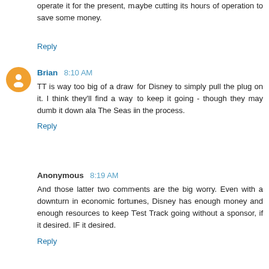operate it for the present, maybe cutting its hours of operation to save some money.
Reply
Brian 8:10 AM
TT is way too big of a draw for Disney to simply pull the plug on it. I think they'll find a way to keep it going - though they may dumb it down ala The Seas in the process.
Reply
Anonymous 8:19 AM
And those latter two comments are the big worry. Even with a downturn in economic fortunes, Disney has enough money and enough resources to keep Test Track going without a sponsor, if it desired. IF it desired.
Reply